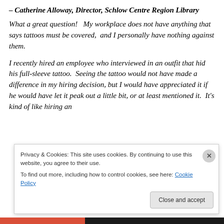– Catherine Alloway, Director, Schlow Centre Region Library
What a great question!   My workplace does not have anything that says tattoos must be covered,  and I personally have nothing against them.
I recently hired an employee who interviewed in an outfit that hid his full-sleeve tattoo.  Seeing the tattoo would not have made a difference in my hiring decision, but I would have appreciated it if he would have let it peak out a little bit, or at least mentioned it.  It's kind of like hiring an
Privacy & Cookies: This site uses cookies. By continuing to use this website, you agree to their use.
To find out more, including how to control cookies, see here: Cookie Policy